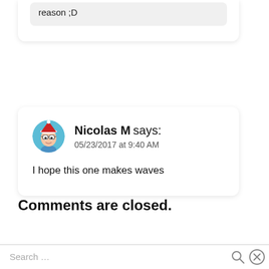reason ;D
Nicolas M says:
05/23/2017 at 9:40 AM
I hope this one makes waves
Comments are closed.
Search ...